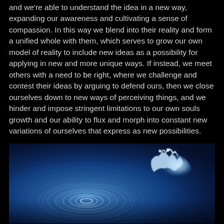and we're able to understand the idea in a new way, expanding our awareness and cultivating a sense of compassion. In this way we blend into their reality and form a unified whole with them, which serves to grow our own model of reality to include new ideas as a possibility for applying in new and more unique ways. If instead, we meet others with a need to be right, where we challenge and contest their ideas by arguing to defend ours, then we close ourselves down to new ways of perceiving things, and we hinder and impose stringent limitations to our own souls growth and our ability to flux and morph into constant new variations of ourselves that express as new possibilities.
[Figure (photo): A blue-toned photograph of concentric water ripples on a surface, with a splash or disturbance visible on the right side, creating expanding circular wave patterns. The image has a glowing, ethereal quality with white highlights on the ripple crests against a deep blue background.]